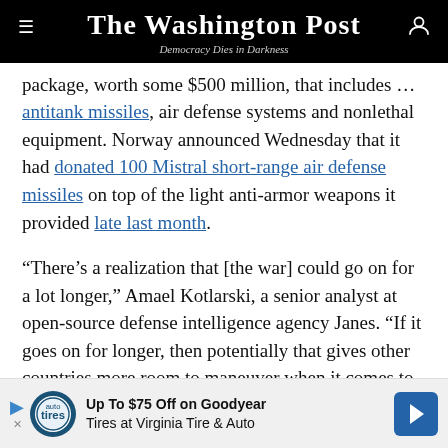The Washington Post — Democracy Dies in Darkness
package, worth some $500 million, that includes more antitank missiles, air defense systems and nonlethal equipment. Norway announced Wednesday that it had donated 100 Mistral short-range air defense missiles on top of the light anti-armor weapons it provided late last month.
“There’s a realization that [the war] could go on for a lot longer,” Amael Kotlarski, a senior analyst at open-source defense intelligence agency Janes. “If it goes on for longer, then potentially that gives other countries more room to maneuver when it comes to shipping more complex weapons systems and getting Ukraine
[Figure (other): Advertisement banner: Up To $75 Off on Goodyear Tires at Virginia Tire & Auto]